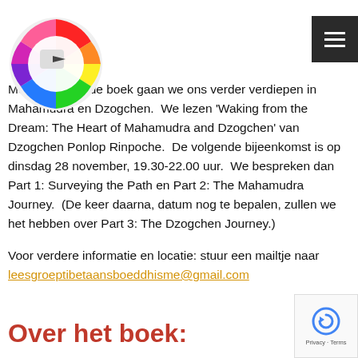[Figure (logo): Rainbow circular logo with white circular overlay and forward arrow in center, top-left of page]
[Figure (other): Dark grey hamburger menu button (three horizontal white lines) positioned top-right]
Met het volgende boek gaan we ons verder verdiepen in Mahamudra en Dzogchen.  We lezen 'Waking from the Dream: The Heart of Mahamudra and Dzogchen' van Dzogchen Ponlop Rinpoche.  De volgende bijeenkomst is op dinsdag 28 november, 19.30-22.00 uur.  We bespreken dan Part 1: Surveying the Path en Part 2: The Mahamudra Journey.  (De keer daarna, datum nog te bepalen, zullen we het hebben over Part 3: The Dzogchen Journey.)
Voor verdere informatie en locatie: stuur een mailtje naar leesgroeptibetaansboeddhisme@gmail.com
Over het boek:
[Figure (logo): Google reCAPTCHA badge bottom-right corner showing circular arrow icon and Privacy · Terms text]